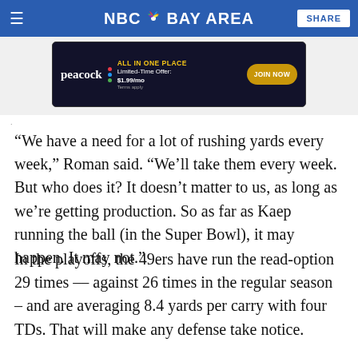NBC Bay Area — SHARE
[Figure (screenshot): Peacock streaming service advertisement banner: ALL IN ONE PLACE, Limited-Time Offer: $1.99/mo, JOIN NOW, Terms apply]
“We have a need for a lot of rushing yards every week,” Roman said. “We’ll take them every week. But who does it? It doesn’t matter to us, as long as we’re getting production. So as far as Kaep running the ball (in the Super Bowl), it may happen. It may not.”
In the playoffs, the 49ers have run the read-option 29 times -- against 26 times in the regular season – and are averaging 8.4 yards per carry with four TDs. That will make any defense take notice.